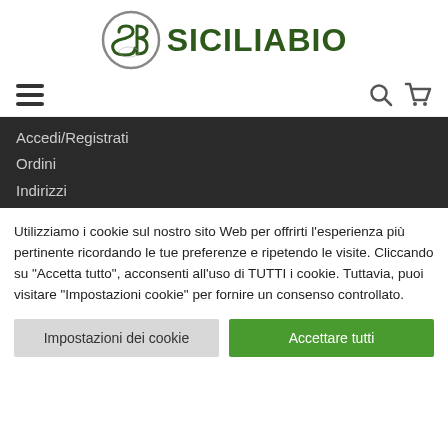[Figure (logo): SiciliaBio logo — circular icon with stylized SB letters and Sicily island shape, next to bold dark green text SICILIABIO]
[Figure (infographic): Navigation bar with hamburger menu icon on left, search and cart icons on right]
Accedi/Registrati
Ordini
Indirizzi
Utilizziamo i cookie sul nostro sito Web per offrirti l'esperienza più pertinente ricordando le tue preferenze e ripetendo le visite. Cliccando su "Accetta tutto", acconsenti all'uso di TUTTI i cookie. Tuttavia, puoi visitare "Impostazioni cookie" per fornire un consenso controllato.
Impostazioni dei cookie
Accettare tutti